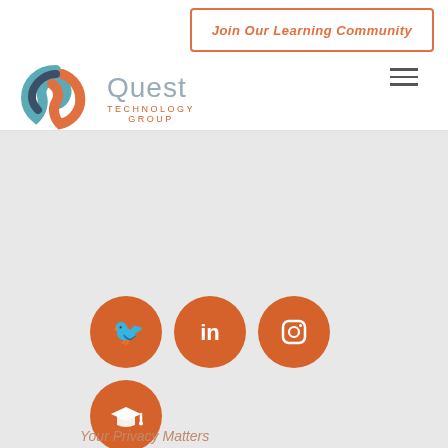Join Our Learning Community
[Figure (logo): Quest Technology Group logo with swirl icon and text]
[Figure (infographic): Social media icons: Twitter, LinkedIn, Instagram, and graduation cap learning community icon, all as orange circles]
Join Our Learning Community
Your Privacy Matters